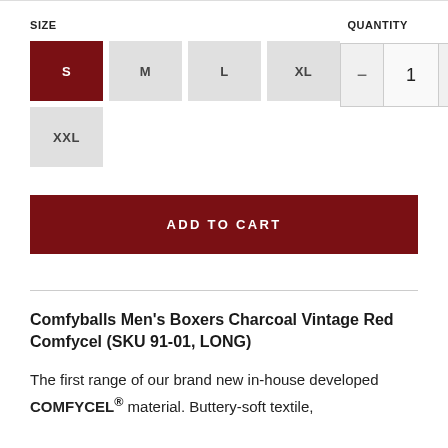SIZE
QUANTITY
S  M  L  XL  XXL (size buttons)
− 1 + (quantity control)
ADD TO CART
Comfyballs Men's Boxers Charcoal Vintage Red Comfycel (SKU 91-01, LONG)
The first range of our brand new in-house developed COMFYCEL® material. Buttery-soft textile,